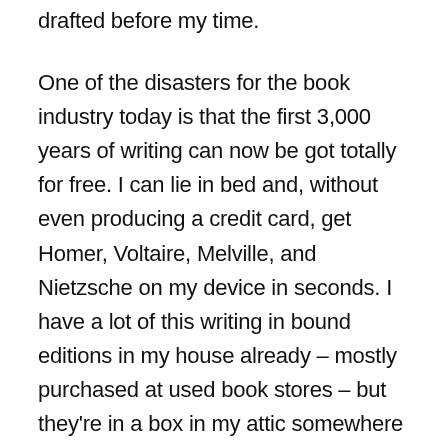drafted before my time.
One of the disasters for the book industry today is that the first 3,000 years of writing can now be got totally for free. I can lie in bed and, without even producing a credit card, get Homer, Voltaire, Melville, and Nietzsche on my device in seconds. I have a lot of this writing in bound editions in my house already – mostly purchased at used book stores – but they're in a box in my attic somewhere and hard to dig out. My huge CD collection, incidentally, is also gathering dust in boxes; I just search YouTube for my old classical music favorites. The guilt-tripping argument – that I should continue paying for items that can be